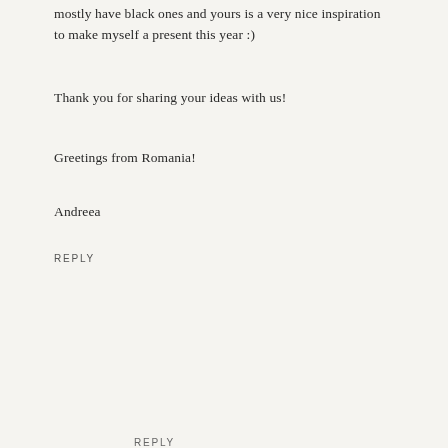mostly have black ones and yours is a very nice inspiration to make myself a present this year :)
Thank you for sharing your ideas with us!
Greetings from Romania!
Andreea
REPLY
[Figure (photo): Circular avatar photo of Caroline, a woman with dark hair]
Caroline says
DECEMBER 13, 2016 AT 9:40 PM
Hi Andreea! Hope you get everything on your Christmas list! :)
REPLY